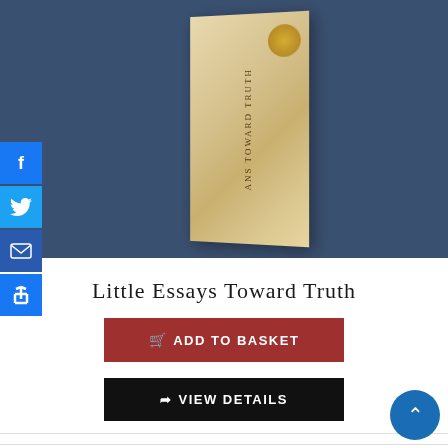[Figure (photo): Photo of a book titled 'Little Essays Toward Truth' standing upright showing its spine against a dark blue background. The book has a cream/tan colored cover/spine with text running vertically and a gold medallion on top.]
Little Essays Toward Truth
[Figure (screenshot): Add to Basket button (dark red/burgundy color) with shopping cart icon]
[Figure (screenshot): View Details button (black color) with arrow icon]
£65.00